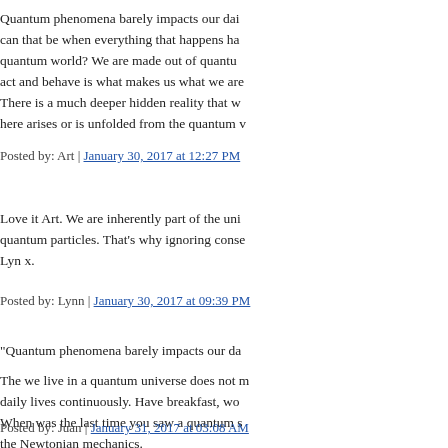Quantum phenomena barely impacts our dai... can that be when everything that happens ha... quantum world? We are made out of quantu... act and behave is what makes us what we are...
There is a much deeper hidden reality that w... here arises or is unfolded from the quantum...
Posted by: Art | January 30, 2017 at 12:27 PM
Love it Art. We are inherently part of the uni... quantum particles. That's why ignoring conse... Lyn x.
Posted by: Lynn | January 30, 2017 at 09:39 PM
"Quantum phenomena barely impacts our da...
The we live in a quantum universe does not m... daily lives continuously. Have breakfast, wo... When was the last time you saw a quantum s... the Newtonian mechanics.
Posted by: Juan | January 31, 2017 at 03:08 AM